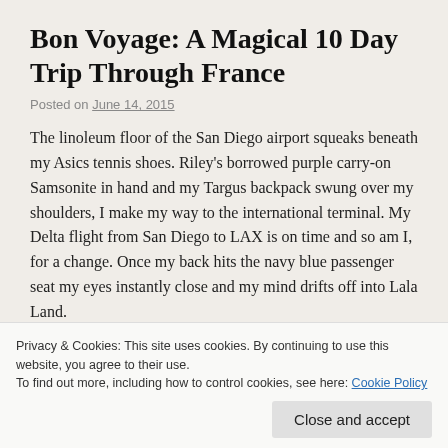Bon Voyage: A Magical 10 Day Trip Through France
Posted on June 14, 2015
The linoleum floor of the San Diego airport squeaks beneath my Asics tennis shoes. Riley's borrowed purple carry-on Samsonite in hand and my Targus backpack swung over my shoulders, I make my way to the international terminal. My Delta flight from San Diego to LAX is on time and so am I, for a change. Once my back hits the navy blue passenger seat my eyes instantly close and my mind drifts off into Lala Land.
The wheels hit the ground marking our arrival. Damn, that felt like we were in the air for 23 minutes. That's because we really were in the air for 23 minutes. The shortest flight I've ever been on.
Privacy & Cookies: This site uses cookies. By continuing to use this website, you agree to their use. To find out more, including how to control cookies, see here: Cookie Policy
traveling to Morocco with her father, and my neighbor to the left,